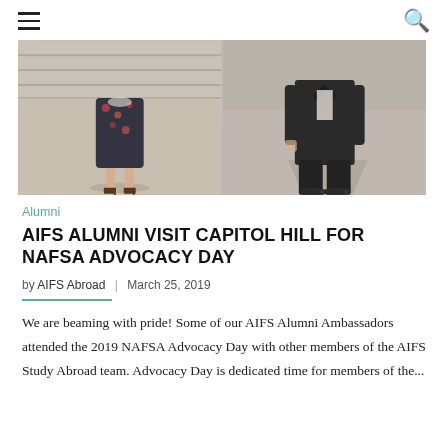Navigation menu and search icon
[Figure (photo): Two people photographed from the waist down standing outdoors. Left: person in a floral dress with sandals on a paved surface near steps. Right: person in dark pants and dark jacket with heels, casting a shadow on paved surface.]
Alumni
AIFS ALUMNI VISIT CAPITOL HILL FOR NAFSA ADVOCACY DAY
by AIFS Abroad | March 25, 2019
We are beaming with pride! Some of our AIFS Alumni Ambassadors attended the 2019 NAFSA Advocacy Day with other members of the AIFS Study Abroad team. Advocacy Day is dedicated time for members of the...